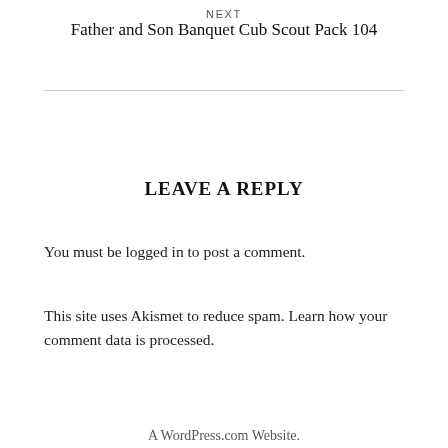NEXT
Father and Son Banquet Cub Scout Pack 104
LEAVE A REPLY
You must be logged in to post a comment.
This site uses Akismet to reduce spam. Learn how your comment data is processed.
A WordPress.com Website.